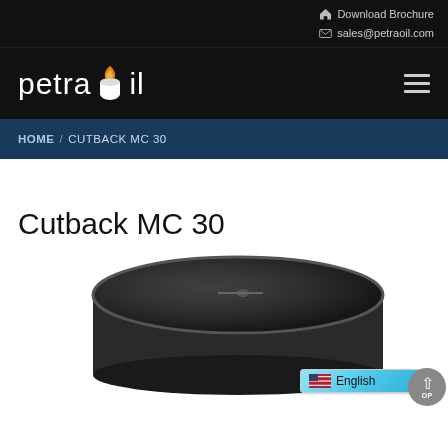Download Brochure
sales@petraoil.com
[Figure (logo): Petraoil logo with flame icon and white text on black background]
HOME / CUTBACK MC 30
Cutback MC 30
[Figure (photo): Black industrial drum/barrel viewed from above at an angle against a light background]